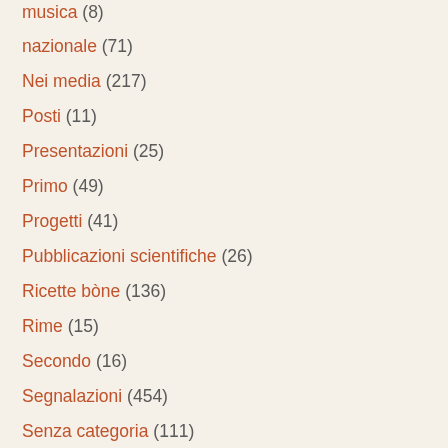musica (8)
nazionale (71)
Nei media (217)
Posti (11)
Presentazioni (25)
Primo (49)
Progetti (41)
Pubblicazioni scientifiche (26)
Ricette bòne (136)
Rime (15)
Secondo (16)
Segnalazioni (454)
Senza categoria (111)
Servizi (15)
Sottolio (11)